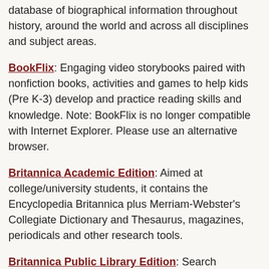database of biographical information throughout history, around the world and across all disciplines and subject areas.
BookFlix: Engaging video storybooks paired with nonfiction books, activities and games to help kids (Pre K-3) develop and practice reading skills and knowledge. Note: BookFlix is no longer compatible with Internet Explorer. Please use an alternative browser.
Britannica Academic Edition: Aimed at college/university students, it contains the Encyclopedia Britannica plus Merriam-Webster's Collegiate Dictionary and Thesaurus, magazines, periodicals and other research tools.
Britannica Public Library Edition: Search Encyclopedia Britannica and Merriam-Webster Dictionary and Thesaurus. Also contains a Spanish-English dictionary and a notable